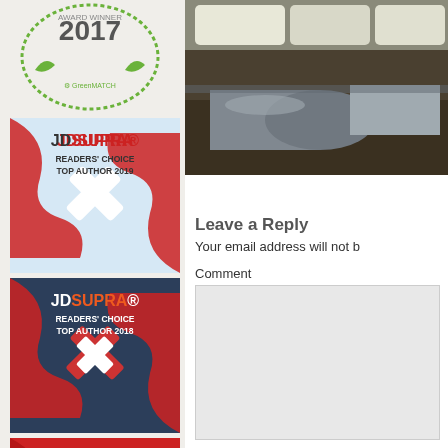[Figure (logo): GreenMatch award badge 2017 with green circular design]
[Figure (logo): JD Supra Readers Choice Top Author 2019 badge - red and light blue]
[Figure (logo): JD Supra Readers Choice Top Author 2018 badge - dark blue]
[Figure (logo): JD Supra Readers Choice Top Author 2017 badge - red]
[Figure (photo): Underground pipeline photo showing metal pipes in soil]
Leave a Reply
Your email address will not b
Comment